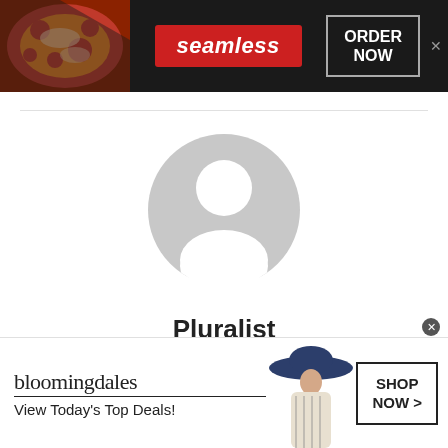[Figure (screenshot): Seamless food delivery advertisement banner with pizza image on left, red Seamless logo badge in center, and ORDER NOW button on right, dark background]
[Figure (illustration): Generic user profile avatar placeholder — grey circle with white silhouette of a person (head and shoulders)]
Pluralist
See author's posts
[Figure (screenshot): Bloomingdale's advertisement banner showing logo, View Today's Top Deals! text, model with wide-brim hat, and SHOP NOW > button]